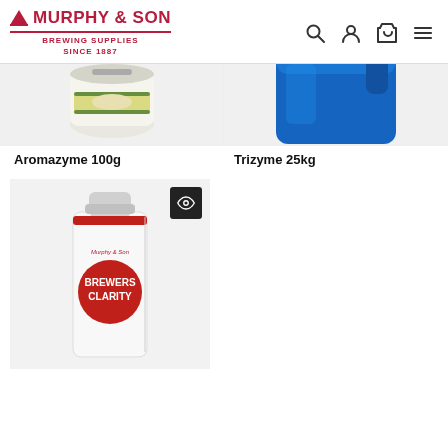[Figure (logo): Murphy & Son Brewing Supplies Since 1887 logo with red triangle and text]
[Figure (illustration): Navigation icons: search, user, cart, menu]
[Figure (photo): Aromazyme 100g product - small white jar with label, partially visible at top]
[Figure (photo): Trizyme 25kg product - blue plastic container, partially visible at top]
Aromazyme 100g
Trizyme 25kg
[Figure (photo): Brewers Clarity product - white rectangular plastic bottle with red cap and red circular label reading BREWERS CLARITY, with eye icon overlay in top right]